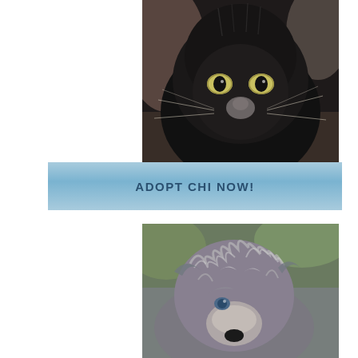[Figure (photo): Close-up photograph of a black cat with yellow-green eyes, facing the camera directly. The cat has dark fur, a grayish nose, and visible whiskers. The background is blurred blue/beige tones.]
ADOPT CHI NOW!
[Figure (photo): Close-up photograph of a shaggy gray and white dog looking slightly upward. The dog has messy fur, one visible blue eye, and a dark nose. The background is blurred green and gray tones.]